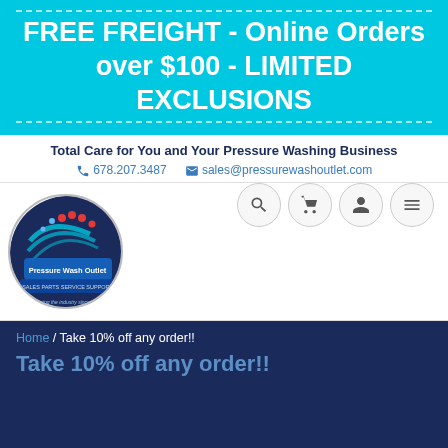FREE FREIGHT - Online Orders over $100 - LIMITED EXCLUSIONS
Total Care for You and Your Pressure Washing Business
678.207.3487  sales@pressurewashoutlet.com
[Figure (logo): Pressure Wash Outlet circular logo with blue and red design, text: Pressure Wash Outlet, Serving the industry since 2003]
Home / Take 10% off any order!!
Take 10% off any order!!